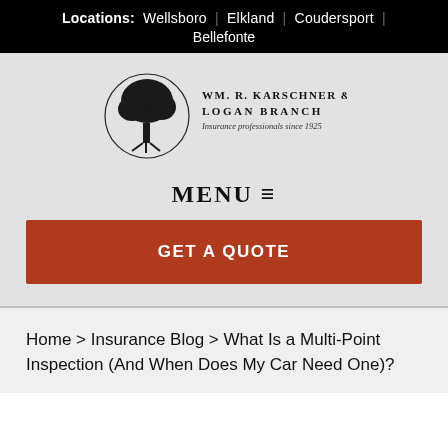Locations: Wellsboro | Elkland | Coudersport | Bellefonte
[Figure (logo): Wm. R. Karschner & Sons Logan Branch logo with tree inside circle. Text reads: WM. R. KARSCHNER & SONS, LOGAN BRANCH, Insurance professionals since 1925]
MENU ≡
GET A QUOTE
Home > Insurance Blog > What Is a Multi-Point Inspection (And When Does My Car Need One)?